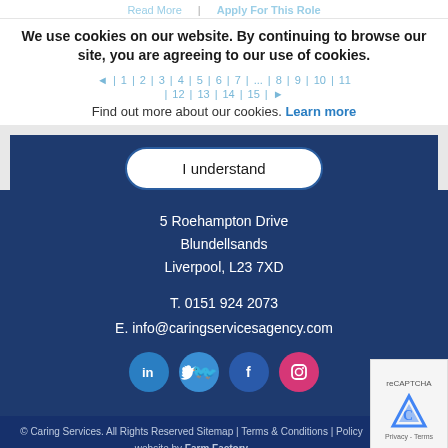Read More | Apply For This Role
We use cookies on our website. By continuing to browse our site, you are agreeing to our use of cookies.
Find out more about our cookies. Learn more
I understand
5 Roehampton Drive
Blundellsands
Liverpool, L23 7XD
T. 0151 924 2073
E. info@caringservicesagency.com
© Caring Services. All Rights Reserved Sitemap | Terms & Conditions | Policy
website by Farm Factory